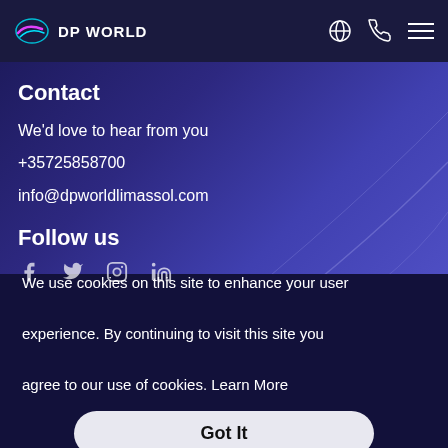DP WORLD
Contact
We'd love to hear from you
+35725858700
info@dpworldlimassol.com
Follow us
We use cookies on this site to enhance your user experience. By continuing to visit this site you agree to our use of cookies. Learn More
Got It